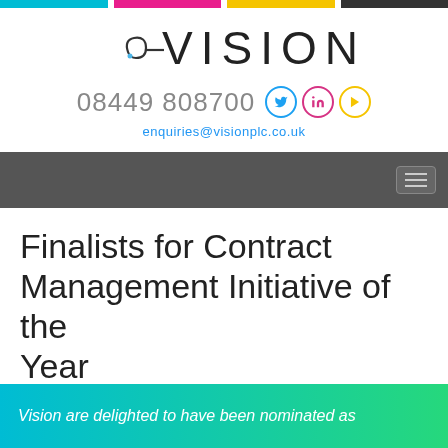[Figure (logo): Vision company logo with stylized arrow and VISION text]
08449 808700
enquiries@visionplc.co.uk
Finalists for Contract Management Initiative of the Year
Vision are delighted to have been nominated as